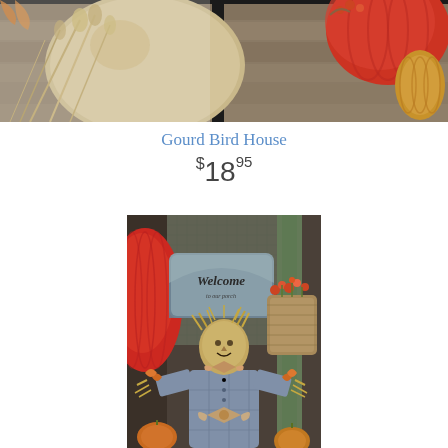[Figure (photo): Top portion of a fall/autumn decorative display showing gourds, pumpkins, dried grasses, and seasonal decorations against a weathered background.]
Gourd Bird House
$18.95
[Figure (photo): A fall/autumn decorative scene featuring a scarecrow wearing a plaid shirt, a metal welcome sign reading 'Welcome to our porch', large red gourds, orange and tan pumpkins, dried flowers, burlap bows, and straw decorations.]